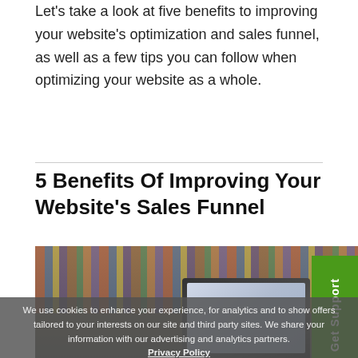Let's take a look at five benefits to improving your website's optimization and sales funnel, as well as a few tips you can follow when optimizing your website as a whole.
5 Benefits Of Improving Your Website's Sales Funnel
[Figure (photo): A laptop computer open on a desk with a blurred bookshelf in the background, showing a website on screen.]
We use cookies to enhance your experience, for analytics and to show offers tailored to your interests on our site and third party sites. We share your information with our advertising and analytics partners. Privacy Policy Close